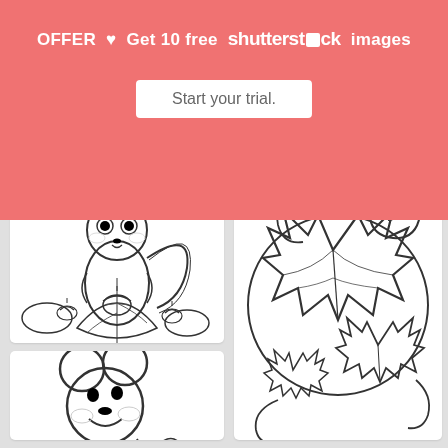[Figure (screenshot): Screenshot of a coloring pages image gallery website with a Shutterstock promotional banner overlay. Shows two coloring page thumbnails: a squirrel with acorns and fall leaves (Cool Fall Pictures T..., 1450x1441, 175 likes, 37 downloads), fall leaves swirl design (Fall Coloring Pages ..., 770x963, 152 likes, 34 downloads), and a partial Mickey Mouse thumbnail at bottom left. Top banner shows 'OFFER Get 10 free Shutterstock images' with 'Start your trial' button. Top partial cards show 327x... and Fall Coloring Pages... with 500x386, 189 likes, 38 downloads.]